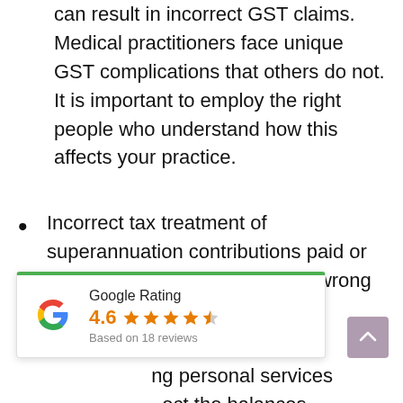can result in incorrect GST claims. Medical practitioners face unique GST complications that others do not. It is important to employ the right people who understand how this affects your practice.
Incorrect tax treatment of superannuation contributions paid or due to be paid, resulting in the wrong tax relief being applied.
Allocating profits incorrectly, including personal services ect the balances due to or from partners.
Miscalculating superannuation
[Figure (other): Google Rating widget showing 4.6 stars based on 18 reviews, with Google G logo and green top border]
[Figure (other): Back to top button, purple/mauve rounded square with upward arrow]